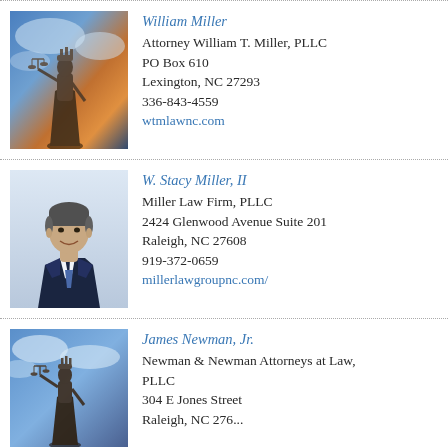[Figure (photo): Photo of justice statue (Lady Justice with scales) against a colorful sky background]
William Miller
Attorney William T. Miller, PLLC
PO Box 610
Lexington, NC 27293
336-843-4559
wtmlawnc.com
[Figure (photo): Professional headshot of W. Stacy Miller II, a middle-aged man in a dark suit with blue tie]
W. Stacy Miller, II
Miller Law Firm, PLLC
2424 Glenwood Avenue Suite 201
Raleigh, NC 27608
919-372-0659
millerlawgroupnc.com/
[Figure (photo): Photo of justice statue (Lady Justice with scales) against a blue sky with clouds]
James Newman, Jr.
Newman & Newman Attorneys at Law, PLLC
304 E Jones Street
Raleigh, NC 276...